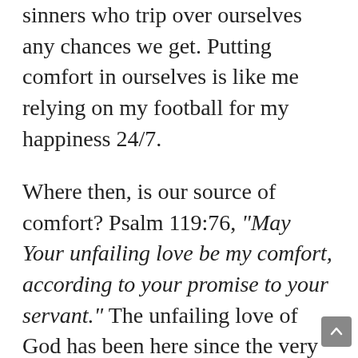sinners who trip over ourselves any chances we get. Putting comfort in ourselves is like me relying on my football for my happiness 24/7.
Where then, is our source of comfort? Psalm 119:76, "May Your unfailing love be my comfort, according to your promise to your servant." The unfailing love of God has been here since the very beginning. To Adam and Eve, who had just destroyed His good and perfect creation, He didn't destroy them, but He saved them. He gave them the source of all our hope. You want a place to put your comfort? Look to the cross. It is there and only there that you will find a